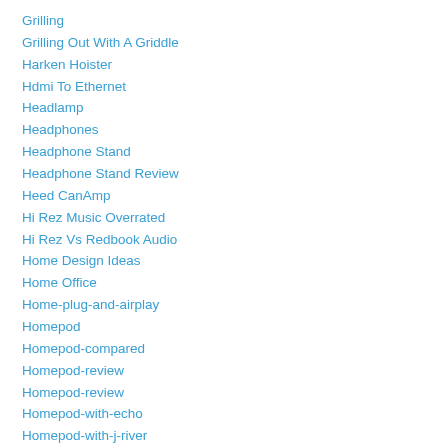Grilling
Grilling Out With A Griddle
Harken Hoister
Hdmi To Ethernet
Headlamp
Headphones
Headphone Stand
Headphone Stand Review
Heed CanAmp
Hi Rez Music Overrated
Hi Rez Vs Redbook Audio
Home Design Ideas
Home Office
Home-plug-and-airplay
Homepod
Homepod-compared
Homepod-review
Homepod-review
Homepod-with-echo
Homepod-with-j-river